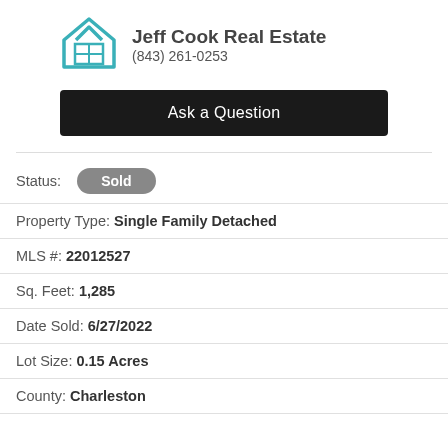[Figure (logo): Jeff Cook Real Estate logo — teal house outline with window grid]
Jeff Cook Real Estate
(843) 261-0253
Ask a Question
Status: Sold
Property Type: Single Family Detached
MLS #: 22012527
Sq. Feet: 1,285
Date Sold: 6/27/2022
Lot Size: 0.15 Acres
County: Charleston